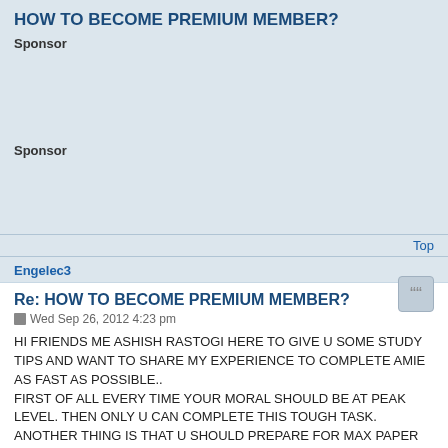HOW TO BECOME PREMIUM MEMBER?
Sponsor
Sponsor
Top
Engelec3
Re: HOW TO BECOME PREMIUM MEMBER?
Wed Sep 26, 2012 4:23 pm
HI FRIENDS ME ASHISH RASTOGI HERE TO GIVE U SOME STUDY TIPS AND WANT TO SHARE MY EXPERIENCE TO COMPLETE AMIE AS FAST AS POSSIBLE..
FIRST OF ALL EVERY TIME YOUR MORAL SHOULD BE AT PEAK LEVEL. THEN ONLY U CAN COMPLETE THIS TOUGH TASK.
ANOTHER THING IS THAT U SHOULD PREPARE FOR MAX PAPER AT A TIME..... IT WILL MAKE U HARD WORKER AND MAKE U BUSY........
EACH SESSION PLEASE FILL UP FORM.... IT WILL INSPIRE U TO MORE STUDY..
MAKE A GROUP OF FRIENDS AND DO DISCUSSION ABOUT TODAYS